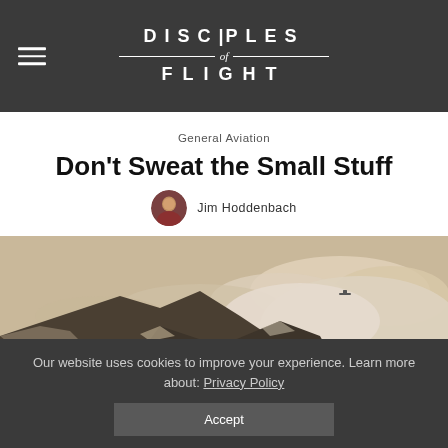DISCIPLES of FLIGHT
General Aviation
Don't Sweat the Small Stuff
Jim Hoddenbach
[Figure (photo): Sepia-toned aerial photograph of snow-capped mountain peaks with dramatic clouds and a small aircraft visible in the sky]
Our website uses cookies to improve your experience. Learn more about: Privacy Policy
Accept